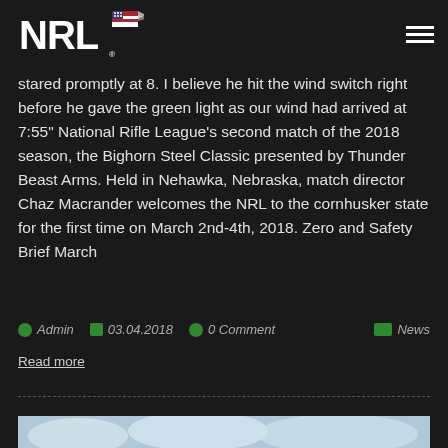NRL logo and navigation menu
stared promptly at 8. I believe he hit the wind switch right before he gave the green light as our wind had arrived at 7:55" National Rifle League's second match of the 2018 season, the Bighorn Steel Classic presented by Thunder Beast Arms. Held in Nehawka, Nebraska, match director Chaz Macrander welcomes the NRL to the cornhusker state for the first time on March 2nd-4th, 2018. Zero and Safety Brief March
Admin  03.04.2018  0 Comment  News
Read more